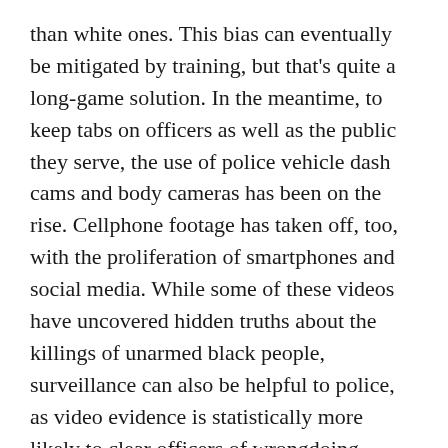than white ones. This bias can eventually be mitigated by training, but that's quite a long-game solution. In the meantime, to keep tabs on officers as well as the public they serve, the use of police vehicle dash cams and body cameras has been on the rise. Cellphone footage has taken off, too, with the proliferation of smartphones and social media. While some of these videos have uncovered hidden truths about the killings of unarmed black people, surveillance can also be helpful to police, as video evidence is statistically more likely to clear officers of wrongdoing.
Naturally, there is the human factor of manipulation of dash cameras and body cameras; the equipment must be turned on to capture the action, after all. Bystander footage can also be manipulated or